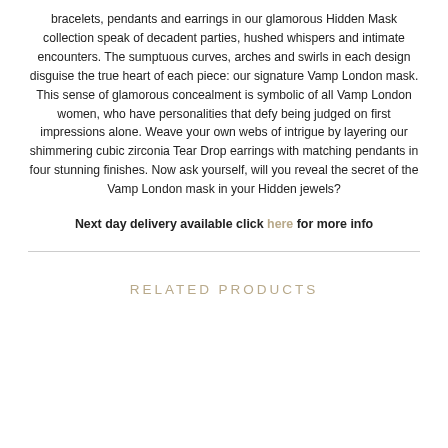bracelets, pendants and earrings in our glamorous Hidden Mask collection speak of decadent parties, hushed whispers and intimate encounters. The sumptuous curves, arches and swirls in each design disguise the true heart of each piece: our signature Vamp London mask. This sense of glamorous concealment is symbolic of all Vamp London women, who have personalities that defy being judged on first impressions alone. Weave your own webs of intrigue by layering our shimmering cubic zirconia Tear Drop earrings with matching pendants in four stunning finishes. Now ask yourself, will you reveal the secret of the Vamp London mask in your Hidden jewels?
Next day delivery available click here for more info
RELATED PRODUCTS